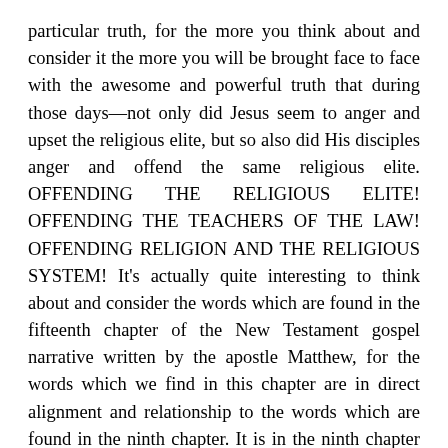particular truth, for the more you think about and consider it the more you will be brought face to face with the awesome and powerful truth that during those days—not only did Jesus seem to anger and upset the religious elite, but so also did His disciples anger and offend the same religious elite. OFFENDING THE RELIGIOUS ELITE! OFFENDING THE TEACHERS OF THE LAW! OFFENDING RELIGION AND THE RELIGIOUS SYSTEM! It's actually quite interesting to think about and consider the words which are found in the fifteenth chapter of the New Testament gospel narrative written by the apostle Matthew, for the words which we find in this chapter are in direct alignment and relationship to the words which are found in the ninth chapter. It is in the ninth chapter of the New Testament gospel narrative written by the apostle Matthew we are first introduced to this offense of the scribes and Pharisees, for it is on this particular occasion where we find the disciples of Jesus upsetting the scribes and the Pharisees—and not only angering and offending